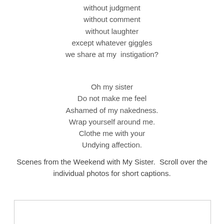without judgment
without comment
without laughter
except whatever giggles
we share at my  instigation?
Oh my sister
Do not make me feel
Ashamed of my nakedness.
Wrap yourself around me.
Clothe me with your
Undying affection.
Scenes from the Weekend with My Sister.  Scroll over the individual photos for short captions.
[Figure (photo): Partially visible image box at the bottom of the page]